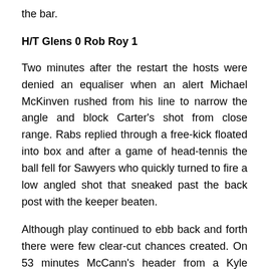the bar.
H/T Glens 0 Rob Roy 1
Two minutes after the restart the hosts were denied an equaliser when an alert Michael McKinven rushed from his line to narrow the angle and block Carter's shot from close range. Rabs replied through a free-kick floated into box and after a game of head-tennis the ball fell for Sawyers who quickly turned to fire a low angled shot that sneaked past the back post with the keeper beaten.
Although play continued to ebb back and forth there were few clear-cut chances created. On 53 minutes McCann's header from a Kyle McAusland's cross was well held by McKinven. At the other end a Rabs corner-kick caused havoc in the Glens box before the ball arrived at the feet of